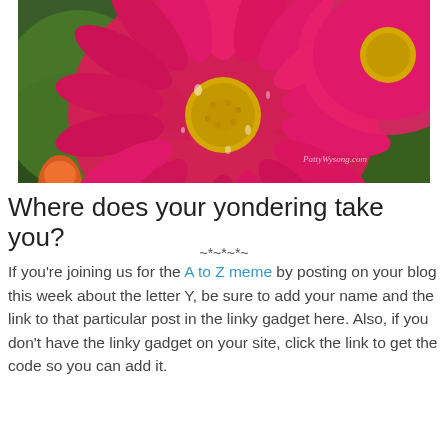[Figure (photo): Close-up photograph of bright pink/magenta Gerbera daisy flowers with green leaves, water droplets visible. Watermark reads 'PattyWysong.com' in lower right corner.]
Where does your yondering take you?
~*~*~*~
If you're joining us for the A to Z meme by posting on your blog this week about the letter Y, be sure to add your name and the link to that particular post in the linky gadget here. Also, if you don't have the linky gadget on your site, click the link to get the code so you can add it.